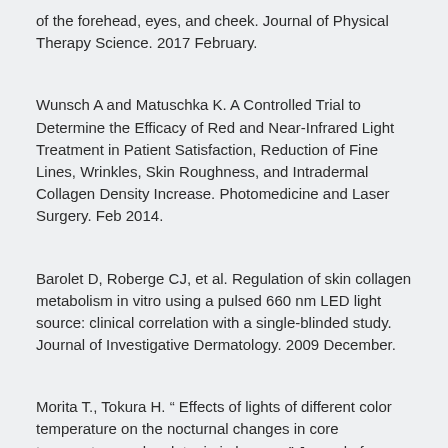of the forehead, eyes, and cheek. Journal of Physical Therapy Science. 2017 February.
Wunsch A and Matuschka K. A Controlled Trial to Determine the Efficacy of Red and Near-Infrared Light Treatment in Patient Satisfaction, Reduction of Fine Lines, Wrinkles, Skin Roughness, and Intradermal Collagen Density Increase. Photomedicine and Laser Surgery. Feb 2014.
Barolet D, Roberge CJ, et al. Regulation of skin collagen metabolism in vitro using a pulsed 660 nm LED light source: clinical correlation with a single-blinded study. Journal of Investigative Dermatology. 2009 December.
Morita T., Tokura H. “ Effects of lights of different color temperature on the nocturnal changes in core temperature and melatonin in humans” Journal of Physiological Anthropology. 1996, Sept.